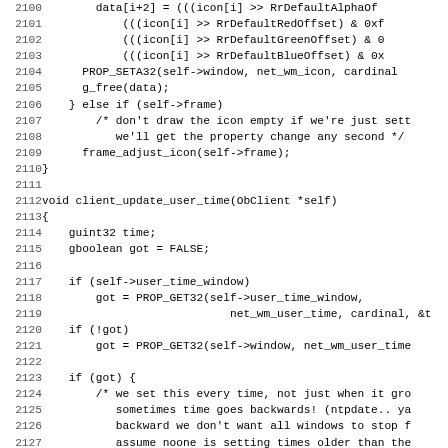[Figure (screenshot): Source code listing in monospace font showing C code lines 2100-2131, including icon data manipulation, client_update_user_time function definition, and user time property handling logic.]